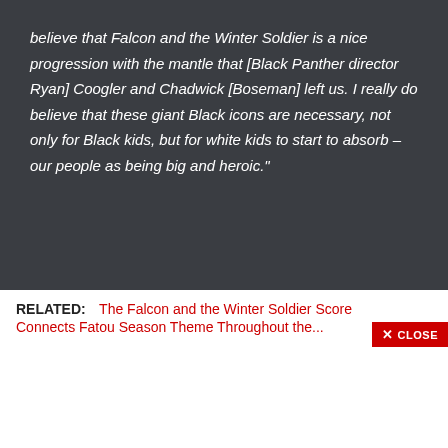believe that Falcon and the Winter Soldier is a nice progression with the mantle that [Black Panther director Ryan] Coogler and Chadwick [Boseman] left us. I really do believe that these giant Black icons are necessary, not only for Black kids, but for white kids to start to absorb – our people as being big and heroic."
RELATED: The Falcon and the Winter Soldier Score Connects Fatou Season Theme Throughout the...